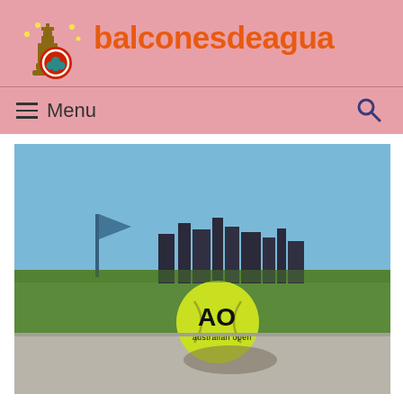balconesdeagua
[Figure (photo): Australian Open tennis ball resting on a concrete ledge with a blurred green field and city skyline in the background under a blue sky]
Menu